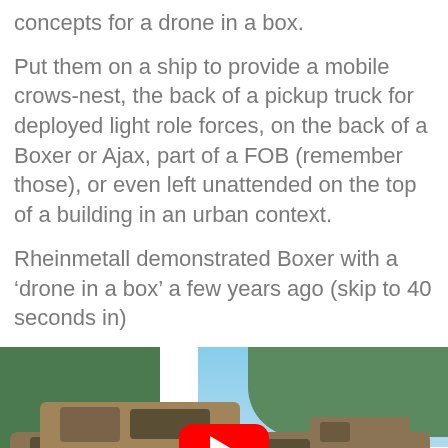concepts for a drone in a box.
Put them on a ship to provide a mobile crows-nest, the back of a pickup truck for deployed light role forces, on the back of a Boxer or Ajax, part of a FOB (remember those), or even left unattended on the top of a building in an urban context.
Rheinmetall demonstrated Boxer with a ‘drone in a box’ a few years ago (skip to 40 seconds in)
[Figure (photo): A military Boxer armored vehicle in camouflage paint with a YouTube play button overlay in the center, trees in the background and blue sky visible. A blue banner with 'IDAA' text is visible on the vehicle's side.]